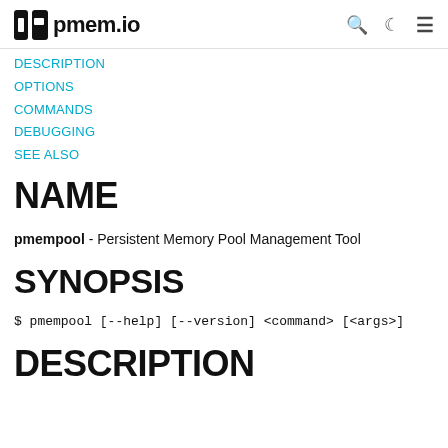pmem.io
DESCRIPTION
OPTIONS
COMMANDS
DEBUGGING
SEE ALSO
NAME
pmempool - Persistent Memory Pool Management Tool
SYNOPSIS
$ pmempool [--help] [--version] <command> [<args>]
DESCRIPTION